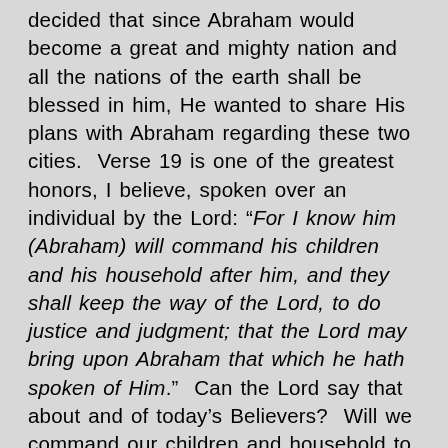decided that since Abraham would become a great and mighty nation and all the nations of the earth shall be blessed in him, He wanted to share His plans with Abraham regarding these two cities.  Verse 19 is one of the greatest honors, I believe, spoken over an individual by the Lord: “For I know him (Abraham) will command his children and his household after him, and they shall keep the way of the Lord, to do justice and judgment; that the Lord may bring upon Abraham that which he hath spoken of Him.”  Can the Lord say that about and of today’s Believers?  Will we command our children and household to follow the Lord?  Will we defend the truths found in the Word of God?  The Lord acknowledged Abraham for his committed faith and faithful obedience